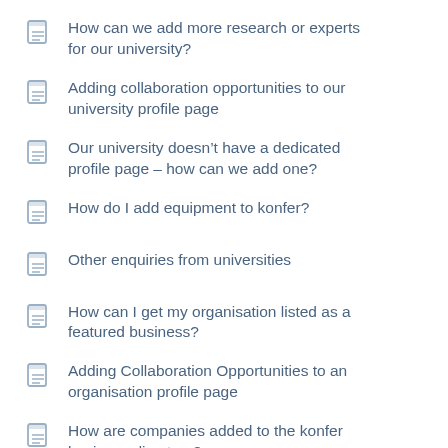How can we add more research or experts for our university?
Adding collaboration opportunities to our university profile page
Our university doesn’t have a dedicated profile page – how can we add one?
How do I add equipment to konfer?
Other enquiries from universities
How can I get my organisation listed as a featured business?
Adding Collaboration Opportunities to an organisation profile page
How are companies added to the konfer business directory?